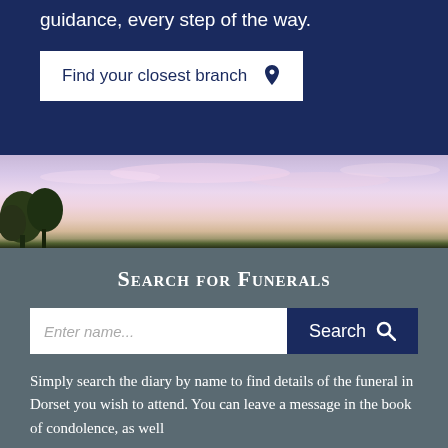guidance, every step of the way.
Find your closest branch
[Figure (photo): Scenic sky photo with pink and purple sunset clouds and dark tree silhouettes in the lower left]
Search for Funerals
Enter name...
Search
Simply search the diary by name to find details of the funeral in Dorset you wish to attend. You can leave a message in the book of condolence, as well